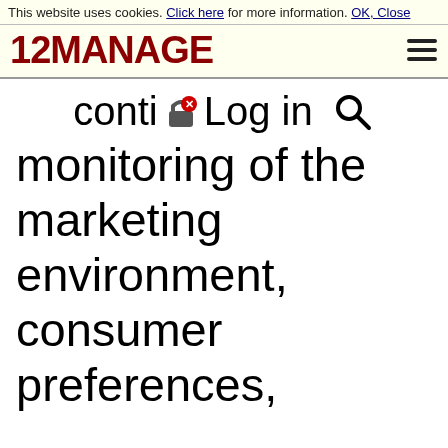This website uses cookies. Click here for more information. OK, Close
[Figure (logo): 12MANAGE logo in dark red bold text with hamburger menu icon]
conti🔒Log in  🔍
monitoring of the
marketing
environment,
consumer
preferences,